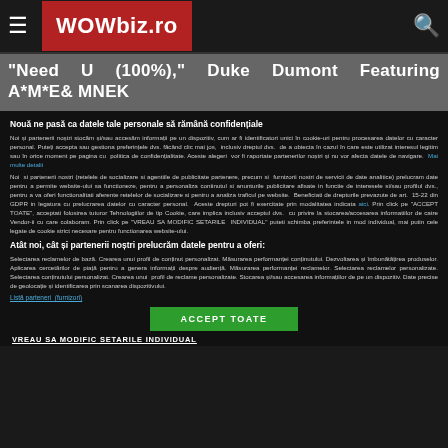WOWbiz.ro
"Need U (100%)," Duke Dumont Featuring A*M*E& MNEK
Nouă ne pasă ca datele tale personale să rămână confidențiale
Noi și partenerii noștri stocăm și/sau accesăm informații pe un dispozitiv, cum ar fi identificatori unici în cookie-uri pentru procesarea datelor cu caracter personal. Puteți accepta sau gestiona preferințele dvs. făcând clic mai jos, inclusiv dreptul dvs. de a obiecta în cazul în care este utilizat interesul legitim sau în orice moment pe pagina cu politica de confidențialitate. Aceste alegeri vor fi raportate partenerilor noștri și nu vor afecta datele de navigare. Mai multe detalii
Noi si partenerii nostri (retelele de socializare si agentiile de publicitate partenere, precum si furnizorii nostri de servicii de date analitice) prelucram date pentru a permite website-ului sa functioneze, pentru a personaliza continutul si anunturile publicitare afisate in functie de interesele si/sau profilul dvs., pentru a va oferi functionalitati aferente retelelor de socializare si pentru a analiza traficul pe website. Beneficiati de drepturile prevazute de art. 15-22 din GDPR in legatura cu prelucrarea datelor cu caracter personal. Aceste drepturi pot fi exercitate prin modalitatea indicata aici. Prin click pe "ACCEPT TOATE", acceptati folosirea tuturor Tehnologiilor de tip Cookie, care implica inclusiv acceptul dvs. cu privire la stocarea/accesarea informatiilor de catre Vendor-ii cu care colaboram. Prin click pe "VREAU SA MODIFIC SETARILE INDIVIDUAL" puteti schimba preferintele in mod individual, mai putin cele legate de cookie strict necesare pentru functionarea website-ului.
Atât noi, cât și partenerii noștri prelucrăm datele pentru a oferi:
Selectarea reclamelor de bază. Crearea unui profil de conținut personalizat. Măsurarea performanței conținutului. Dezvoltarea și îmbunătățirea produselor. Aplicarea cercetărilor de piață pentru a genera informații despre audiență. Măsurarea performanței reclamelor. Selectarea reclamelor personalizate. Selectarea conținutului personalizat. Crearea unui profil de reclame personalizate. Stocarea și/sau accesarea informațiilor de pe un dispozitiv. Date precise de geolocație și identificarea prin scanarea dispozitivului.
Listă parteneri (furnizori)
ACCEPT TOATE
VREAU SA MODIFIC SETARILE INDIVIDUAL